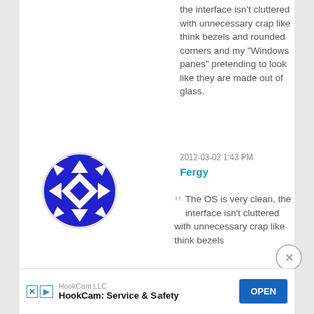the interface isn't cluttered with unnecessary crap like think bezels and rounded corners and my “Windows panes” pretending to look like they are made out of glass.
2012-03-02 1:43 PM
Fergy
[Figure (illustration): Circular avatar with blue and white geometric diamond/arrow quilt pattern on light grey background]
The OS is very clean, the interface isn’t cluttered with unnecessary crap like think bezels
[Figure (screenshot): Advertisement banner: HookCam LLC - HookCam: Service & Safety with OPEN button]